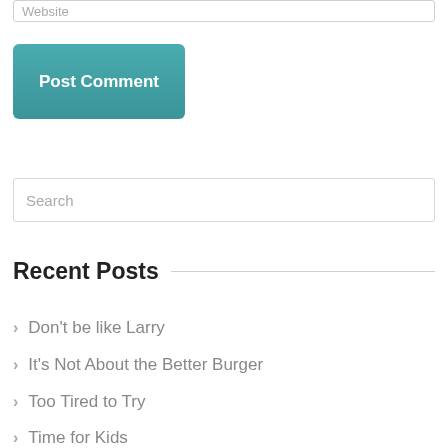Website
Post Comment
Search
Recent Posts
Don't be like Larry
It's Not About the Better Burger
Too Tired to Try
Time for Kids